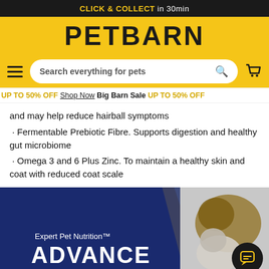CLICK & COLLECT in 30min
[Figure (logo): PETBARN logo on yellow background]
[Figure (screenshot): Search bar with placeholder text 'Search everything for pets', hamburger menu icon, and cart icon on yellow background]
UP TO 50% OFF  Shop Now  Big Barn Sale  UP TO 50% OFF
and may help reduce hairball symptoms
Fermentable Prebiotic Fibre. Supports digestion and healthy gut microbiome
Omega 3 and 6 Plus Zinc. To maintain a healthy skin and coat with reduced coat scale
[Figure (illustration): ADVANCE Expert Pet Nutrition brand banner showing a dog and cat with the ADVANCE logo on dark blue background]
ADD TO CART